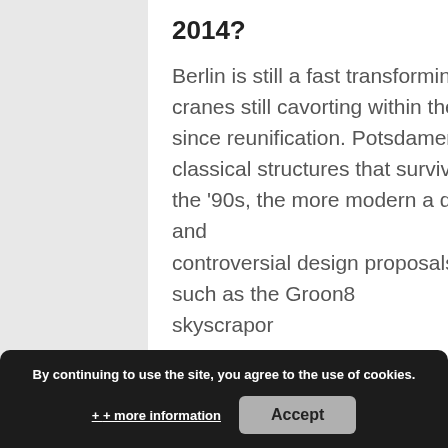2014?
Berlin is still a fast transforming place, of course you can see rows of cranes still cavorting within the architectural playground that opening up since reunification. Potsdamer Platz looks to me more aged than the classical structures that survived the war. I feel like since that boom of the '90s, the more modern a design, the more quickly it seems to fade and
The city continu... controversial design proposals such as the Groon8 skyscrapor
By continuing to use the site, you agree to the use of cookies.
+ more information
Accept